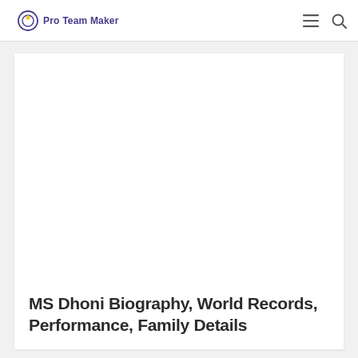Pro Team Maker
[Figure (other): Empty white advertisement or image placeholder area]
MS Dhoni Biography, World Records, Performance, Family Details